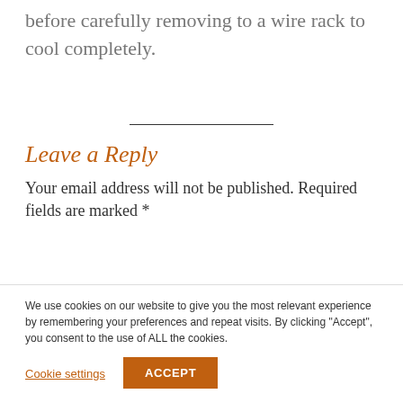before carefully removing to a wire rack to cool completely.
Leave a Reply
Your email address will not be published. Required fields are marked *
We use cookies on our website to give you the most relevant experience by remembering your preferences and repeat visits. By clicking "Accept", you consent to the use of ALL the cookies.